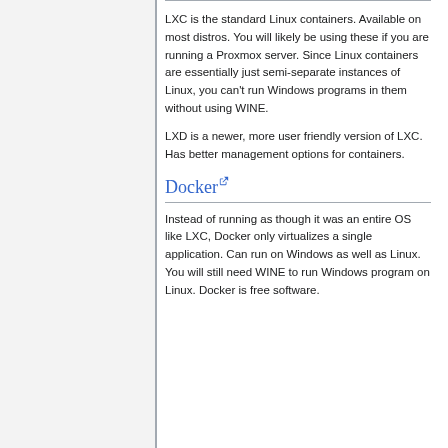LXC is the standard Linux containers. Available on most distros. You will likely be using these if you are running a Proxmox server. Since Linux containers are essentially just semi-separate instances of Linux, you can't run Windows programs in them without using WINE.
LXD is a newer, more user friendly version of LXC. Has better management options for containers.
Docker
Instead of running as though it was an entire OS like LXC, Docker only virtualizes a single application. Can run on Windows as well as Linux. You will still need WINE to run Windows program on Linux. Docker is free software.